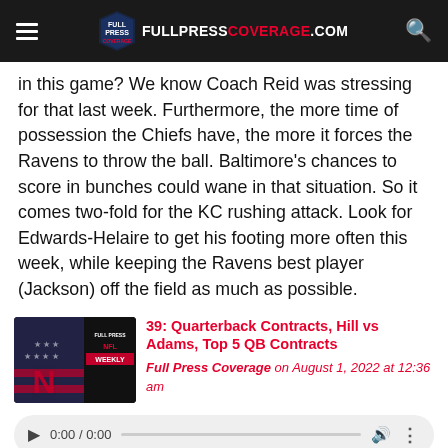FULLPRESSCOVERAGE.COM
in this game? We know Coach Reid was stressing for that last week. Furthermore, the more time of possession the Chiefs have, the more it forces the Ravens to throw the ball. Baltimore's chances to score in bunches could wane in that situation. So it comes two-fold for the KC rushing attack. Look for Edwards-Helaire to get his footing more often this week, while keeping the Ravens best player (Jackson) off the field as much as possible.
[Figure (photo): Thumbnail image for Full Press Weekly podcast episode]
39: Quarterback Contracts, Hill vs Adams, Top 5 QB Contracts
Full Press Coverage on August 1, 2022 at 12:36 am
[Figure (other): Audio player widget showing 0:00 / 0:00]